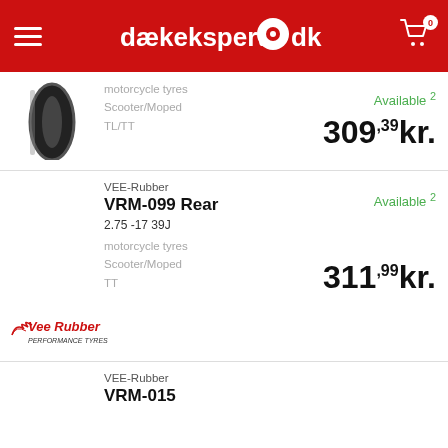dækekspert.dk
[Figure (photo): Partial motorcycle tyre image (top cropped)]
motorcycle tyres
Scooter/Moped
TL/TT
Available 2
309,39kr.
VEE-Rubber
VRM-099 Rear
2.75 -17 39J
motorcycle tyres
Scooter/Moped
TT
Available 2
[Figure (logo): Vee Rubber Performance Tyres logo]
311,99kr.
VEE-Rubber
VRM-015